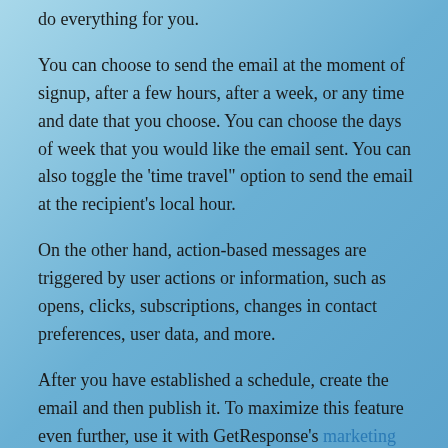do everything for you.
You can choose to send the email at the moment of signup, after a few hours, after a week, or any time and date that you choose. You can choose the days of week that you would like the email sent. You can also toggle the 'time travel" option to send the email at the recipient's local hour.
On the other hand, action-based messages are triggered by user actions or information, such as opens, clicks, subscriptions, changes in contact preferences, user data, and more.
After you have established a schedule, create the email and then publish it. To maximize this feature even further, use it with GetResponse's marketing automation feature, which automates your sales and engagement by setting up multiple autoresponders.